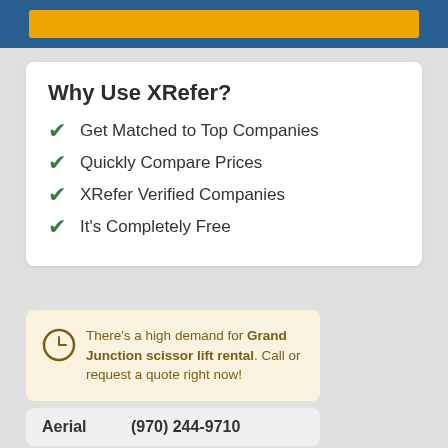[Figure (other): Top blue banner with orange button inside]
Why Use XRefer?
Get Matched to Top Companies
Quickly Compare Prices
XRefer Verified Companies
It's Completely Free
There's a high demand for Grand Junction scissor lift rental. Call or request a quote right now!
Aerial (970) 244-9710